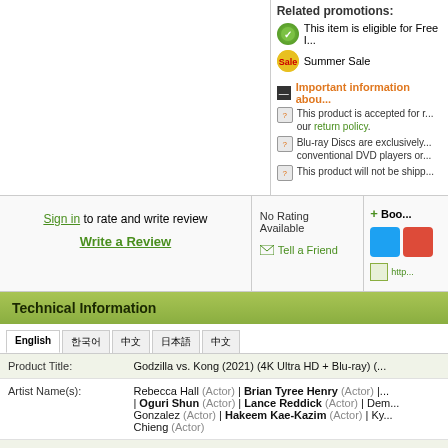Related promotions: This item is eligible for Free I... Summer Sale
Important information about... This product is accepted for r... our return policy. Blu-ray Discs are exclusively... conventional DVD players or... This product will not be shipp...
Sign in to rate and write review
Write a Review
No Rating Available
Tell a Friend
+ Book... http...
Technical Information
|  | English | 한국어 | 中文 | 日本語 | 中文 |
| --- | --- | --- | --- | --- | --- |
| Product Title: | Godzilla vs. Kong (2021) (4K Ultra HD + Blu-ray) ( |  |
| Artist Name(s): | Rebecca Hall (Actor) | Brian Tyree Henry (Actor) | ... | Oguri Shun (Actor) | Lance Reddick (Actor) | Dem... Gonzalez (Actor) | Hakeem Kae-Kazim (Actor) | Ky... Chieng (Actor) |  |
| Director: | Adam Wingard |  |
| Blu-ray Region Code: | All Region  What is it? |  |